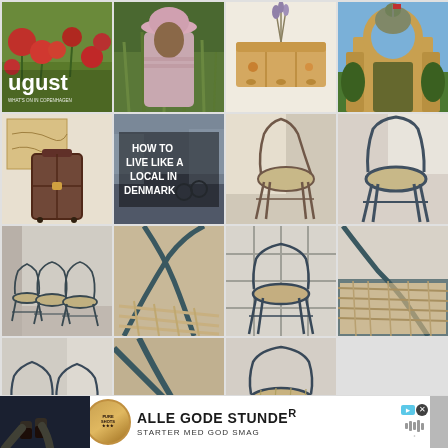[Figure (photo): Magazine cover with 'ugust' text over red poppies and green field background]
[Figure (photo): Person wearing pink bucket hat in green tall grass]
[Figure (photo): Wooden box with lavender flowers on white background]
[Figure (photo): Tivoli Gardens entrance gate with green arches]
[Figure (photo): Suitcase next to a map on wall]
[Figure (photo): Text overlay: HOW TO LIVE LIKE A LOCAL IN DENMARK on street background]
[Figure (photo): Light-colored Wishbone chair by window]
[Figure (photo): Dark Wishbone chair in corner]
[Figure (photo): Row of dark Wishbone chairs in room]
[Figure (photo): Close-up of dark Wishbone chair back and woven seat]
[Figure (photo): Dark Wishbone chair against grid window]
[Figure (photo): Close-up of dark Wishbone chair arm and woven seat]
[Figure (photo): Two dark Wishbone chairs by window]
[Figure (photo): Dark Wishbone chair close-up of back and seat]
[Figure (photo): Dark Wishbone chair with woven seat close-up]
[Figure (photo): Advertisement banner: ALLE GODE STUNDER / STARTER MED GOD SMAG with Pure Shots logo]